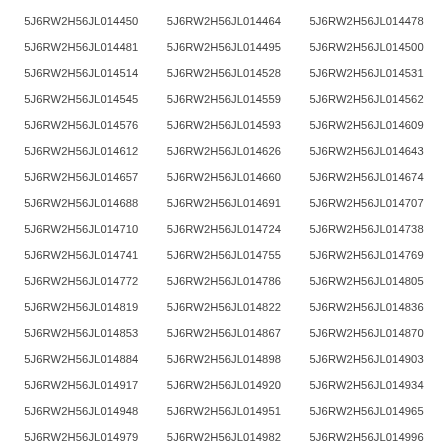5J6RW2H56JL014450  5J6RW2H56JL014464  5J6RW2H56JL014478
5J6RW2H56JL014481  5J6RW2H56JL014495  5J6RW2H56JL014500
5J6RW2H56JL014514  5J6RW2H56JL014528  5J6RW2H56JL014531
5J6RW2H56JL014545  5J6RW2H56JL014559  5J6RW2H56JL014562
5J6RW2H56JL014576  5J6RW2H56JL014593  5J6RW2H56JL014609
5J6RW2H56JL014612  5J6RW2H56JL014626  5J6RW2H56JL014643
5J6RW2H56JL014657  5J6RW2H56JL014660  5J6RW2H56JL014674
5J6RW2H56JL014688  5J6RW2H56JL014691  5J6RW2H56JL014707
5J6RW2H56JL014710  5J6RW2H56JL014724  5J6RW2H56JL014738
5J6RW2H56JL014741  5J6RW2H56JL014755  5J6RW2H56JL014769
5J6RW2H56JL014772  5J6RW2H56JL014786  5J6RW2H56JL014805
5J6RW2H56JL014819  5J6RW2H56JL014822  5J6RW2H56JL014836
5J6RW2H56JL014853  5J6RW2H56JL014867  5J6RW2H56JL014870
5J6RW2H56JL014884  5J6RW2H56JL014898  5J6RW2H56JL014903
5J6RW2H56JL014917  5J6RW2H56JL014920  5J6RW2H56JL014934
5J6RW2H56JL014948  5J6RW2H56JL014951  5J6RW2H56JL014965
5J6RW2H56JL014979  5J6RW2H56JL014982  5J6RW2H56JL014996